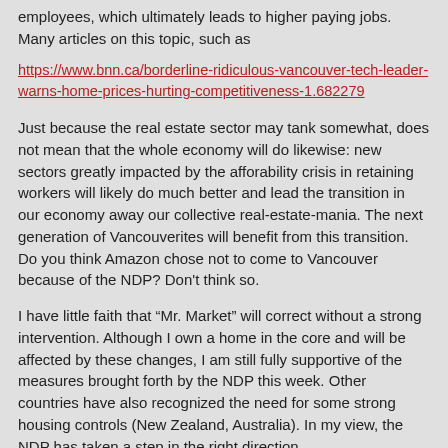employees, which ultimately leads to higher paying jobs. Many articles on this topic, such as
https://www.bnn.ca/borderline-ridiculous-vancouver-tech-leader-warns-home-prices-hurting-competitiveness-1.682279
Just because the real estate sector may tank somewhat, does not mean that the whole economy will do likewise: new sectors greatly impacted by the afforability crisis in retaining workers will likely do much better and lead the transition in our economy away our collective real-estate-mania. The next generation of Vancouverites will benefit from this transition. Do you think Amazon chose not to come to Vancouver because of the NDP? Don't think so.
I have little faith that “Mr. Market” will correct without a strong intervention. Although I own a home in the core and will be affected by these changes, I am still fully supportive of the measures brought forth by the NDP this week. Other countries have also recognized the need for some strong housing controls (New Zealand, Australia). In my view, the NDP has taken a step in the right direction.
#90  conan  on 02.23.18 at 7:42 pm